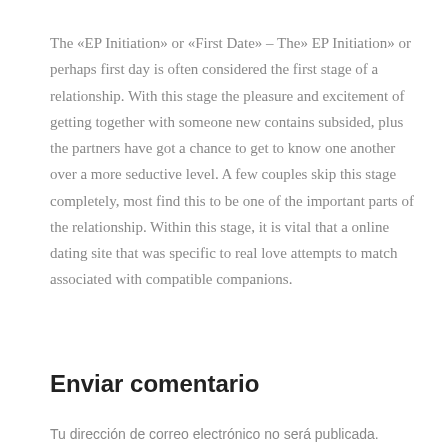The «EP Initiation» or «First Date» – The» EP Initiation» or perhaps first day is often considered the first stage of a relationship. With this stage the pleasure and excitement of getting together with someone new contains subsided, plus the partners have got a chance to get to know one another over a more seductive level. A few couples skip this stage completely, most find this to be one of the important parts of the relationship. Within this stage, it is vital that a online dating site that was specific to real love attempts to match associated with compatible companions.
Enviar comentario
Tu dirección de correo electrónico no será publicada.